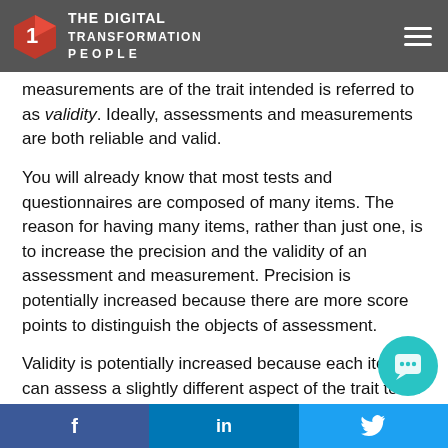THE DIGITAL TRANSFORMATION PEOPLE
measurements are of the trait intended is referred to as validity. Ideally, assessments and measurements are both reliable and valid.
You will already know that most tests and questionnaires are composed of many items. The reason for having many items, rather than just one, is to increase the precision and the validity of an assessment and measurement. Precision is potentially increased because there are more score points to distinguish the objects of assessment.
Validity is potentially increased because each item can assess a slightly different aspect of the trait to be measured. When all items assess a common trait, and each assess only its own unique aspect of the trait, then the asse
f  in  (Twitter bird)